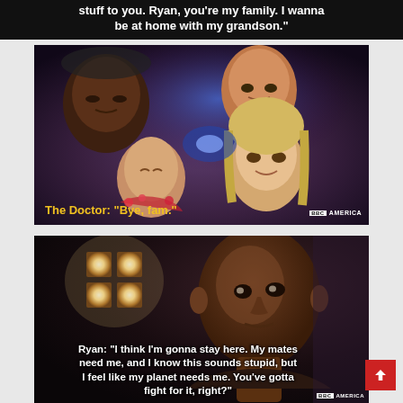stuff to you. Ryan, you’re my family. I wanna be at home with my grandson.”
[Figure (screenshot): Scene from Doctor Who on BBC America showing four faces looking upward in a circle from a low angle, lit with blue and purple tones. Yellow subtitle reads: The Doctor: “Bye, fam.”]
[Figure (screenshot): Scene from Doctor Who on BBC America showing a young Black man looking forward against a dark background with TARDIS window lights visible. White subtitle reads: Ryan: “I think I’m gonna stay here. My mates need me, and I know this sounds stupid, but I feel like my planet needs me. You’ve gotta fight for it, right?”]